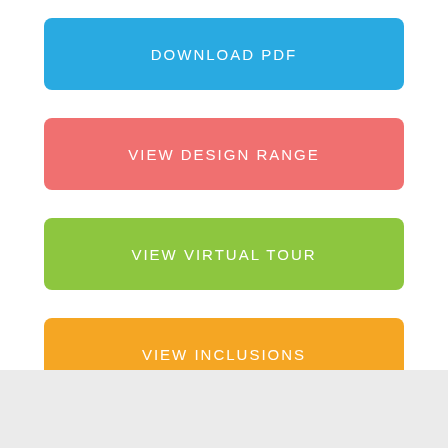[Figure (infographic): Four colored action buttons stacked vertically: 'DOWNLOAD PDF' (blue), 'VIEW DESIGN RANGE' (pink/salmon), 'VIEW VIRTUAL TOUR' (green), 'VIEW INCLUSIONS' (orange)]